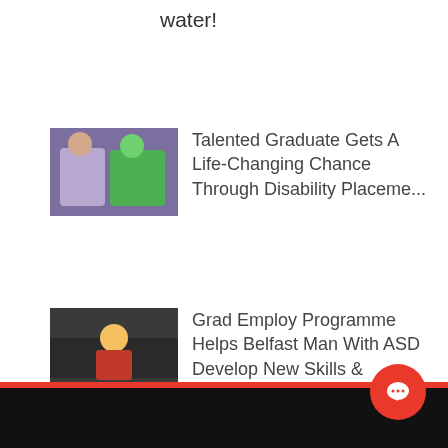water!
Talented Graduate Gets A Life-Changing Chance Through Disability Placeme...
Grad Employ Programme Helps Belfast Man With ASD Develop New Skills & Boost...
Tyrone Cancer Survivor Reveals How Awareness And Early Diagnosis Can Save ...